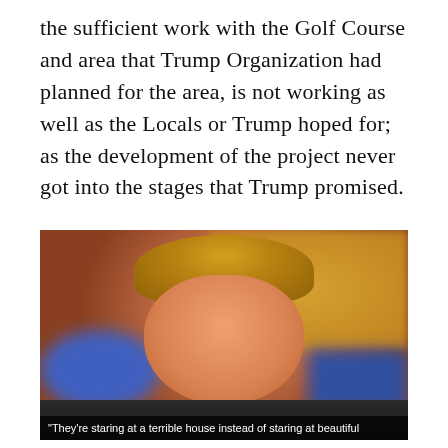the sufficient work with the Golf Course and area that Trump Organization had planned for the area, is not working as well as the Locals or Trump hoped for; as the development of the project never got into the stages that Trump promised.
[Figure (photo): Close-up photo of Donald Trump speaking, with blonde hair, against a blurred blue and warm-toned background. A dark caption bar at the bottom reads: 'They're staring at a terrible house instead of staring at beautiful']
"They're staring at a terrible house instead of staring at beautiful